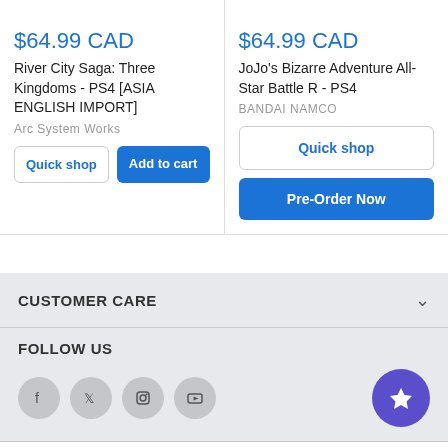$64.99 CAD
River City Saga: Three Kingdoms - PS4 [ASIA ENGLISH IMPORT]
Arc System Works
$64.99 CAD
JoJo's Bizarre Adventure All-Star Battle R - PS4
BANDAI NAMCO
CUSTOMER CARE
FOLLOW US